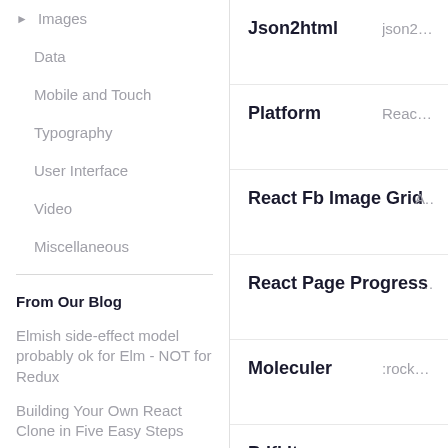▶ Images
Data
Mobile and Touch
Typography
User Interface
Video
Miscellaneous
From Our Blog
Elmish side-effect model probably ok for Elm - NOT for Redux
Building Your Own React Clone in Five Easy Steps
The Problem with
| Name | Description |
| --- | --- |
| Json2html | json2html is a |
| Platform | Reactive libra |
| React Fb Image Grid | A b |
| React Page Progress | :ta |
| Moleculer | :rocket: Prog |
| Pdfkit | A JavaScript |
| Prosemirror | The ProseMi |
| Black | World's faste |
| Native Script | NativeScript |
| Docx | Easily genera |